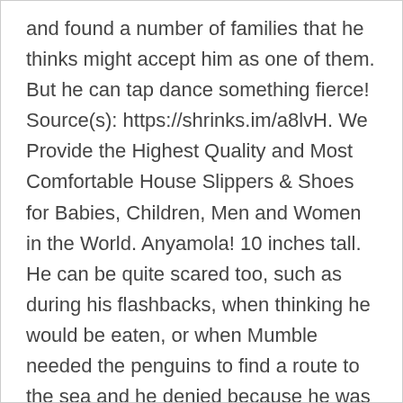and found a number of families that he thinks might accept him as one of them. But he can tap dance something fierce! Source(s): https://shrinks.im/a8lvH. We Provide the Highest Quality and Most Comfortable House Slippers & Shoes for Babies, Children, Men and Women in the World. Anyamola! 10 inches tall. He can be quite scared too, such as during his flashbacks, when thinking he would be eaten, or when Mumble needed the penguins to find a route to the sea and he denied because he was scared of the Aliens (humans) due to his earlier experiences. Brands New. Sven is a puffin, possibly from a North Eastern Atlantic colony. ENOUGH! Feet - VEX-105833 Foxwood-VERSAEDGE South Africa. If you continue to use our services, we will assume that you agree to the use of such cookies. Learn more about Happy Feet today. Jun 15, 2019 - Travel